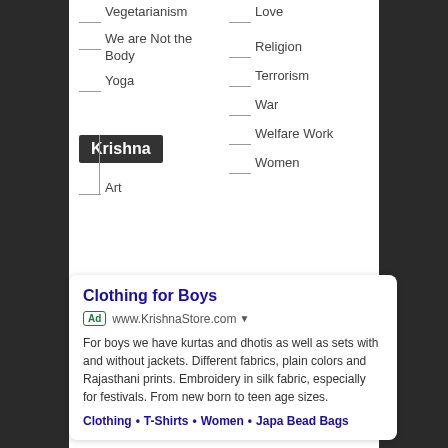Vegetarianism
We are Not the Body
Yoga
Love
Religion
Terrorism
War
Welfare Work
Women
Krishna
Art
Clothing for Boys
Ad www.KrishnaStore.com
For boys we have kurtas and dhotis as well as sets with and without jackets. Different fabrics, plain colors and Rajasthani prints. Embroidery in silk fabric, especially for festivals. From new born to teen age sizes.
Clothing • T-Shirts • Women • Japa Bead Bags